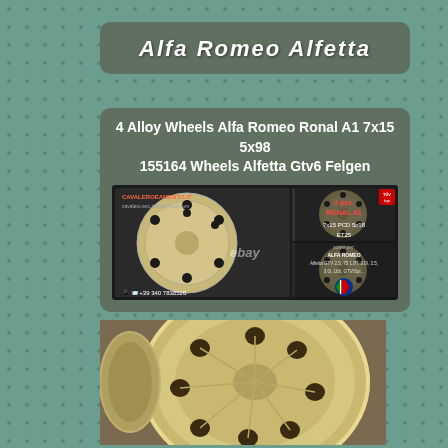Alfa Romeo Alfetta
4 Alloy Wheels Alfa Romeo Ronal A1 7x15 5x98 155164 Wheels Alfetta Gtv6 Felgen
[Figure (photo): Product listing image showing 4 Ronal A1 alloy wheels 7x15 PCD 5x98 ET25 for Alfa Romeo, with ebay watermark and Alfa Romeo logo]
[Figure (photo): Close-up photo of a single gold/champagne colored Alfa Romeo Ronal A1 alloy wheel showing the multi-hole design]